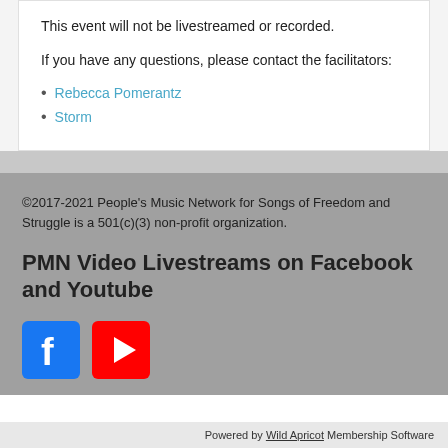This event will not be livestreamed or recorded.
If you have any questions, please contact the facilitators:
Rebecca Pomerantz
Storm
©2017-2021 People's Music Network for Songs of Freedom and Struggle is a 501(c)(3) non-profit organization.
PMN Video Livestreams on Facebook and Youtube
[Figure (logo): Facebook logo icon (blue square with white f) and YouTube logo icon (red square with white play button triangle)]
Powered by Wild Apricot Membership Software